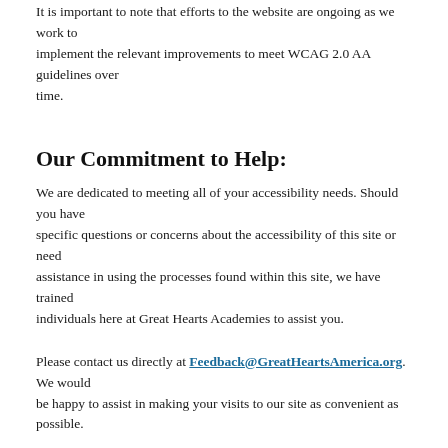It is important to note that efforts to the website are ongoing as we work to implement the relevant improvements to meet WCAG 2.0 AA guidelines over time.
Our Commitment to Help:
We are dedicated to meeting all of your accessibility needs. Should you have specific questions or concerns about the accessibility of this site or need assistance in using the processes found within this site, we have trained individuals here at Great Hearts Academies to assist you.
Please contact us directly at Feedback@GreatHeartsAmerica.org. We would be happy to assist in making your visits to our site as convenient as possible.